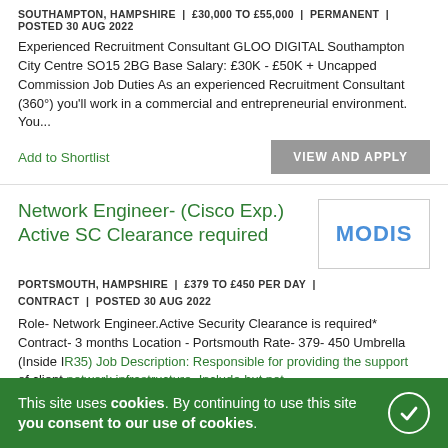SOUTHAMPTON, HAMPSHIRE | £30,000 TO £55,000 | PERMANENT | POSTED 30 AUG 2022
Experienced Recruitment Consultant GLOO DIGITAL Southampton City Centre SO15 2BG Base Salary: £30K - £50K + Uncapped Commission Job Duties As an experienced Recruitment Consultant (360°) you'll work in a commercial and entrepreneurial environment. You...
Add to Shortlist
VIEW AND APPLY
Network Engineer- (Cisco Exp.) Active SC Clearance required
[Figure (logo): MODIS company logo — blue bold text on white background with border]
PORTSMOUTH, HAMPSHIRE | £379 TO £450 PER DAY | CONTRACT | POSTED 30 AUG 2022
Role- Network Engineer.Active Security Clearance is required* Contract- 3 months Location - Portsmouth Rate- 379- 450 Umbrella (Inside IR35) Job Description: Responsible for providing the support of client network infrastructure. Include but not...
Add to Shortlist
This site uses cookies. By continuing to use this site you consent to our use of cookies.